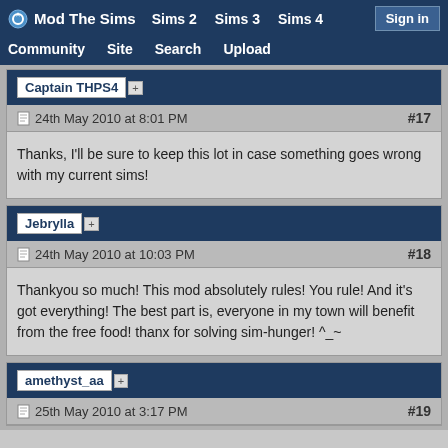Mod The Sims  Sims 2  Sims 3  Sims 4  Community  Site  Search  Upload  Sign in
Captain THPS4 [+]
24th May 2010 at 8:01 PM  #17
Thanks, I'll be sure to keep this lot in case something goes wrong with my current sims!
Jebrylla [+]
24th May 2010 at 10:03 PM  #18
Thankyou so much! This mod absolutely rules! You rule! And it's got everything! The best part is, everyone in my town will benefit from the free food! thanx for solving sim-hunger! ^_~
amethyst_aa [+]
25th May 2010 at 3:17 PM  #19